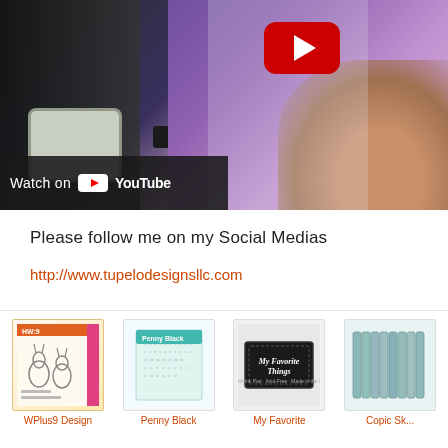[Figure (screenshot): YouTube video thumbnail showing crafting scene with stamp pad and hand holding supplies, YouTube play button visible, 'Watch on YouTube' bar at bottom left]
Please follow me on my Social Medias
http://www.tupelodesignsllc.com
[Figure (photo): Product grid showing WPlus9 Design stamp set (bunnies), Penny Black product, My Favorite Things ink pad, and Copic Sketch markers]
WPlus9 Design   Penny Black   My Favorite   Copic Sk...